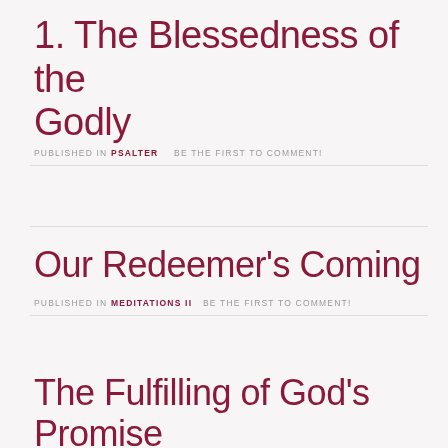1. The Blessedness of the Godly
PUBLISHED IN PSALTER   BE THE FIRST TO COMMENT!
Our Redeemer's Coming
PUBLISHED IN MEDITATIONS II   BE THE FIRST TO COMMENT!
The Fulfilling of God's Promise